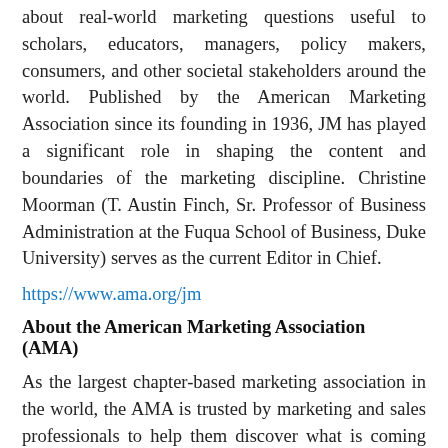about real-world marketing questions useful to scholars, educators, managers, policy makers, consumers, and other societal stakeholders around the world. Published by the American Marketing Association since its founding in 1936, JM has played a significant role in shaping the content and boundaries of the marketing discipline. Christine Moorman (T. Austin Finch, Sr. Professor of Business Administration at the Fuqua School of Business, Duke University) serves as the current Editor in Chief.
https://www.ama.org/jm
About the American Marketing Association (AMA)
As the largest chapter-based marketing association in the world, the AMA is trusted by marketing and sales professionals to help them discover what is coming next in the industry. The AMA has a community of local chapters in more than 70 cities and 350 college campuses throughout North America. The AMA is home to award-winning content, PCM® professional certification, premiere academic journals, and industry-leading training events